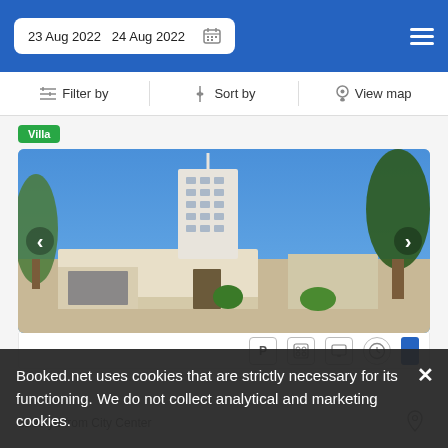23 Aug 2022  24 Aug 2022
Filter by   Sort by   View map
Villa
[Figure (photo): Exterior photo of a villa with white/cream stucco building, flat roof, tall multi-story white building in background, blue sky, trees on both sides]
Booked.net uses cookies that are strictly necessary for its functioning. We do not collect analytical and marketing cookies.
1200 yd from City Center